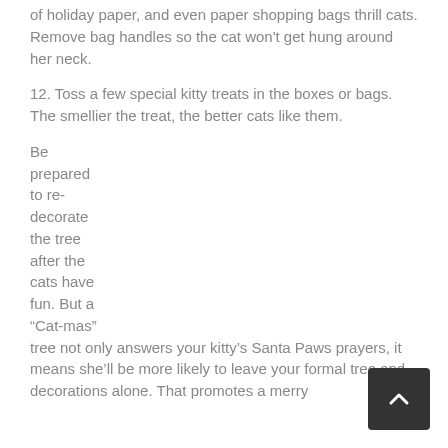of holiday paper, and even paper shopping bags thrill cats. Remove bag handles so the cat won't get hung around her neck.
12. Toss a few special kitty treats in the boxes or bags. The smellier the treat, the better cats like them.
Be prepared to re-decorate the tree after the cats have fun. But a “Cat-mas” tree not only answers your kitty’s Santa Paws prayers, it means she’ll be more likely to leave your formal tree and decorations alone. That promotes a merry